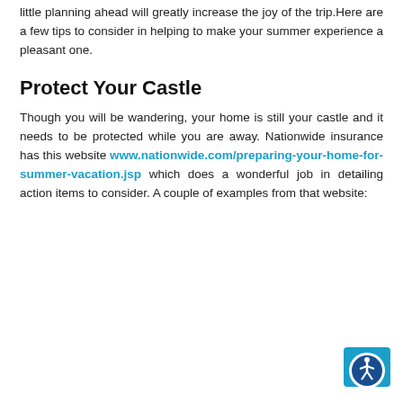little planning ahead will greatly increase the joy of the trip.Here are a few tips to consider in helping to make your summer experience a pleasant one.
Protect Your Castle
Though you will be wandering, your home is still your castle and it needs to be protected while you are away. Nationwide insurance has this website www.nationwide.com/preparing-your-home-for-summer-vacation.jsp which does a wonderful job in detailing action items to consider. A couple of examples from that website:
[Figure (logo): Accessibility icon: blue shield background with circular accessibility symbol (person with arms and legs spread)]